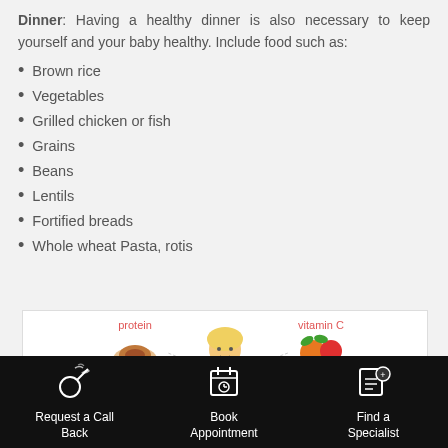Dinner: Having a healthy dinner is also necessary to keep yourself and your baby healthy. Include food such as:
Brown rice
Vegetables
Grilled chicken or fish
Grains
Beans
Lentils
Fortified breads
Whole wheat Pasta, rotis
[Figure (infographic): Infographic showing a woman with arrows pointing to nutritional categories: protein (roasted chicken), vitamin C (citrus fruits and tomato), calcium (milk bottle), healthy fats (oil bottle)]
Request a Call Back | Book Appointment | Find a Specialist